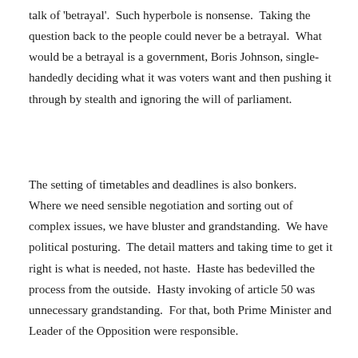talk of 'betrayal'.  Such hyperbole is nonsense.  Taking the question back to the people could never be a betrayal.  What would be a betrayal is a government, Boris Johnson, single-handedly deciding what it was voters want and then pushing it through by stealth and ignoring the will of parliament.
The setting of timetables and deadlines is also bonkers.  Where we need sensible negotiation and sorting out of complex issues, we have bluster and grandstanding.  We have political posturing.  The detail matters and taking time to get it right is what is needed, not haste.  Haste has bedevilled the process from the outside.  Hasty invoking of article 50 was unnecessary grandstanding.  For that, both Prime Minister and Leader of the Opposition were responsible.